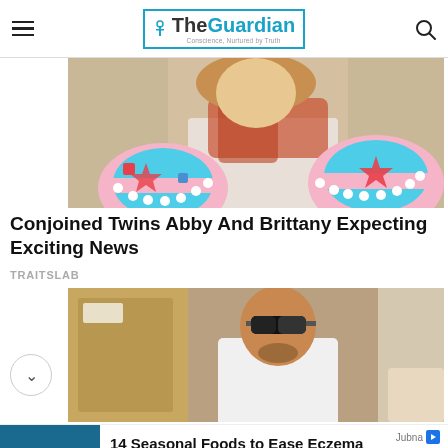The Guardian — Conscience, Nurtured by Truth
[Figure (photo): Woman holding two gender reveal cakes with pink and blue frosting]
Conjoined Twins Abby And Brittany Expecting Exciting News
TRAITSLAB
[Figure (photo): Man wearing sunglasses in white shirt]
[Figure (photo): Plate of seasonal foods including salad with strawberries, avocado and blueberries]
14 Seasonal Foods to Ease Eczema Inflammation
HealthCentral | Sponsored